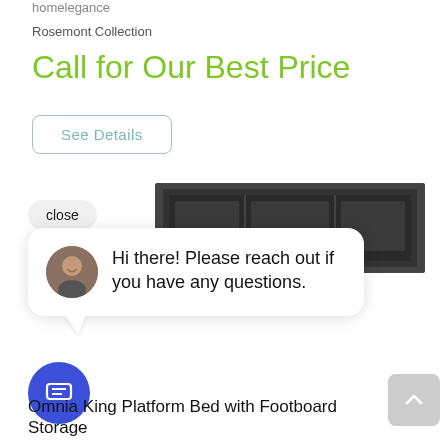homelegance
Rosemont Collection
Call for Our Best Price
See Details
[Figure (screenshot): A dark upholstered king platform bed headboard with horizontal panel sections, shown in partial view.]
close
Hi there! Please reach out if you have any questions.
Omnia King Platform Bed with Footboard Storage